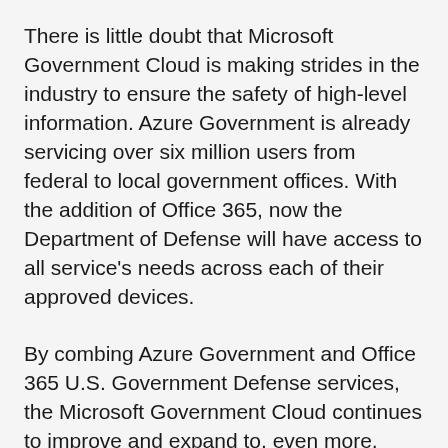There is little doubt that Microsoft Government Cloud is making strides in the industry to ensure the safety of high-level information. Azure Government is already servicing over six million users from federal to local government offices. With the addition of Office 365, now the Department of Defense will have access to all service's needs across each of their approved devices.
By combing Azure Government and Office 365 U.S. Government Defense services, the Microsoft Government Cloud continues to improve and expand to, even more, data centers. Two of which should be available at the end of the year and another couple joining the list in early 2017.